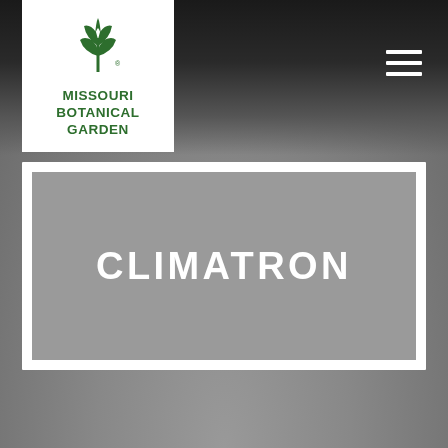[Figure (logo): Missouri Botanical Garden logo — green plant icon above the text MISSOURI BOTANICAL GARDEN in green sans-serif on white background]
CLIMATRON